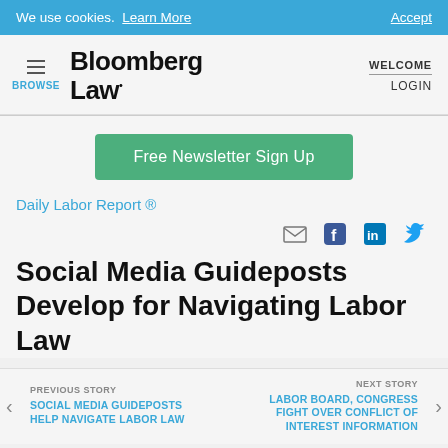We use cookies. Learn More   Accept
[Figure (logo): Bloomberg Law logo with hamburger menu and BROWSE label on left, WELCOME/LOGIN on right]
[Figure (other): Free Newsletter Sign Up green button]
Daily Labor Report ®
[Figure (other): Social sharing icons: email, Facebook, LinkedIn, Twitter]
Social Media Guideposts Develop for Navigating Labor Law
PREVIOUS STORY: SOCIAL MEDIA GUIDEPOSTS HELP NAVIGATE LABOR LAW | NEXT STORY: LABOR BOARD, CONGRESS FIGHT OVER CONFLICT OF INTEREST INFORMATION